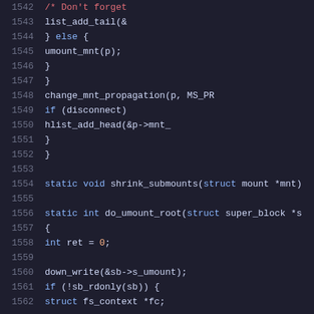Source code listing lines 1542-1562, C kernel code showing shrink_submounts and do_umount_root functions